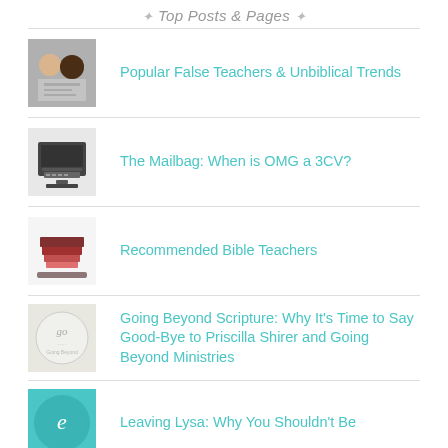Top Posts & Pages
Popular False Teachers & Unbiblical Trends
The Mailbag: When is OMG a 3CV?
Recommended Bible Teachers
Going Beyond Scripture: Why It’s Time to Say Good-Bye to Priscilla Shirer and Going Beyond Ministries
Leaving Lysa: Why You Shouldn’t Be